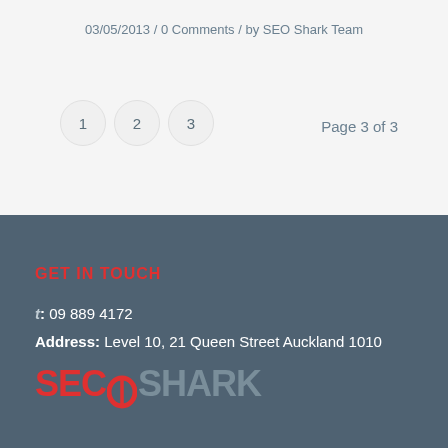03/05/2013 / 0 Comments / by SEO Shark Team
1 2 3   Page 3 of 3
GET IN TOUCH
t: 09 889 4172
Address: Level 10, 21 Queen Street Auckland 1010
[Figure (logo): SEO Shark logo in red and grey text]